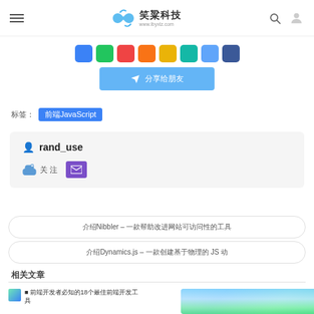笑粱科技 www.lbyxlz.com
[Figure (screenshot): Row of social sharing icons (blue, green, red, orange, yellow, teal, light blue, navy)]
[Figure (screenshot): Blue share/send button with airplane icon and Chinese text]
标签　前端JavaScript
[Figure (screenshot): Author card showing rand_use with follow and mail buttons]
介绍Nibbler – 一款帮助改进网站可访问性的工具
介绍Dynamics.js – 一款创建基于物理的 JS 动
相关文章
[Figure (screenshot): Thumbnail image with Chinese text about 18 items]
[Figure (photo): Outdoor landscape photo on the right side]